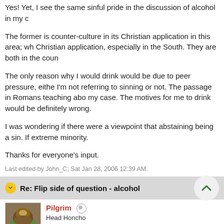Yes! Yet, I see the same sinful pride in the discussion of alcohol in my c
The former is counter-culture in its Christian application in this area; wh Christian application, especially in the South. They are both in the coun
The only reason why I would drink would be due to peer pressure, eithe I'm not referring to sinning or not. The passage in Romans teaching abo my case. The motives for me to drink would be definitely wrong.
I was wondering if there were a viewpoint that abstaining being a sin. If extreme minority.
Thanks for everyone's input.
Last edited by John_C; Sat Jan 28, 2006 12:39 AM.
Re: Flip side of question - alcohol
Pilgrim
Head Honcho